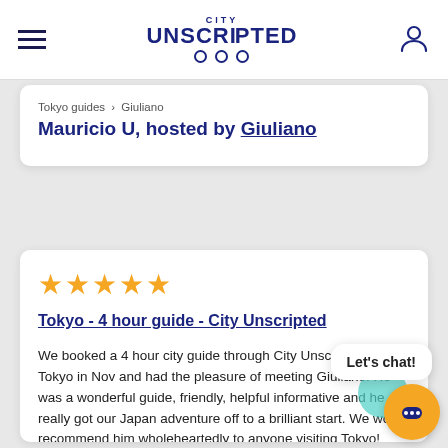CITY UNSCRIPTED
Tokyo guides > Giuliano
Mauricio U, hosted by Giuliano
★★★★★
Tokyo - 4 hour guide - City Unscripted
We booked a 4 hour city guide through City Unscripted for Tokyo in Nov and had the pleasure of meeting Giuliano. He was a wonderful guide, friendly, helpful informative and he really got our Japan adventure off to a brilliant start. We wo recommend him wholeheartedly to anyone visiting Tokyo! Many thanks